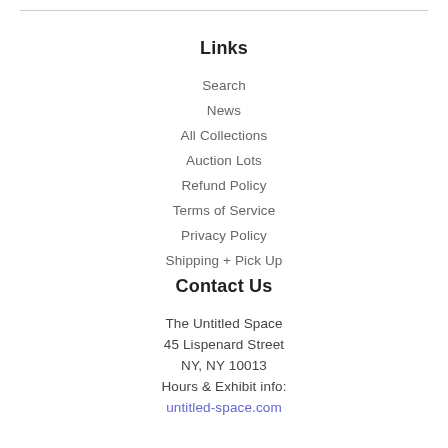Links
Search
News
All Collections
Auction Lots
Refund Policy
Terms of Service
Privacy Policy
Shipping + Pick Up
Contact Us
The Untitled Space
45 Lispenard Street
NY, NY 10013
Hours & Exhibit info:
untitled-space.com